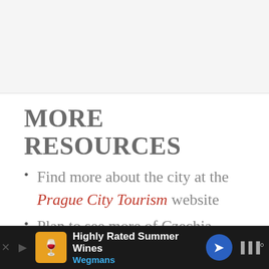MORE RESOURCES
Find more about the city at the Prague City Tourism website
Plan to see more of Czechia (Czech Republic) with the help of the country's official tourism site...
[Figure (screenshot): Advertisement bar at bottom: Highly Rated Summer Wines - Wegmans]